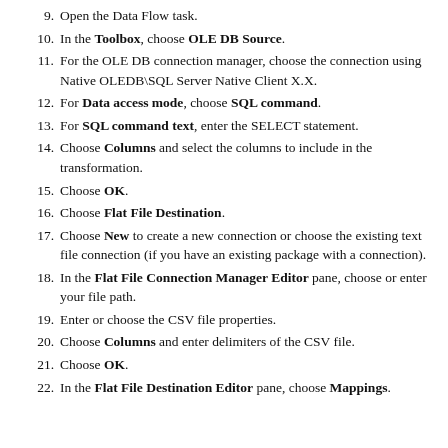9. Open the Data Flow task.
10. In the Toolbox, choose OLE DB Source.
11. For the OLE DB connection manager, choose the connection using Native OLEDB\SQL Server Native Client X.X.
12. For Data access mode, choose SQL command.
13. For SQL command text, enter the SELECT statement.
14. Choose Columns and select the columns to include in the transformation.
15. Choose OK.
16. Choose Flat File Destination.
17. Choose New to create a new connection or choose the existing text file connection (if you have an existing package with a connection).
18. In the Flat File Connection Manager Editor pane, choose or enter your file path.
19. Enter or choose the CSV file properties.
20. Choose Columns and enter delimiters of the CSV file.
21. Choose OK.
22. In the Flat File Destination Editor pane, choose Mappings.